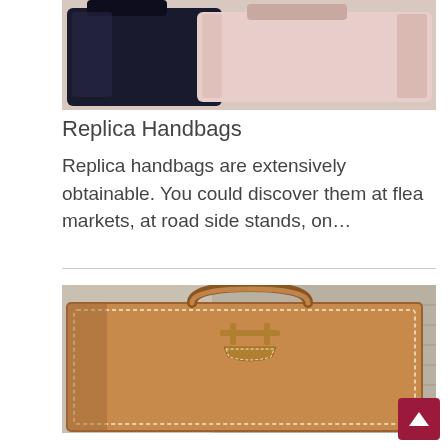[Figure (photo): Photo of handbags — a dark navy/black bag and a pink/blush bag stacked or overlapping, shot from above or side angle]
Replica Handbags
Replica handbags are extensively obtainable. You could discover them at flea markets, at road side stands, on…
[Figure (photo): Close-up photo of a tan/caramel brown leather handbag with gold hardware clasp and white stitching detail, against a stone/brick background]
Ch...